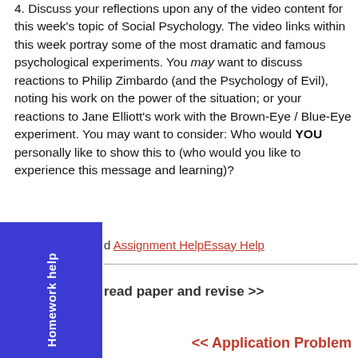4. Discuss your reflections upon any of the video content for this week's topic of Social Psychology. The video links within this week portray some of the most dramatic and famous psychological experiments. You may want to discuss reactions to Philip Zimbardo (and the Psychology of Evil), noting his work on the power of the situation; or your reactions to Jane Elliott's work with the Brown-Eye / Blue-Eye experiment. You may want to consider: Who would YOU personally like to show this to (who would you like to experience this message and learning)?
d Assignment HelpEssay Help
read paper and revise >>
<< Application Problem